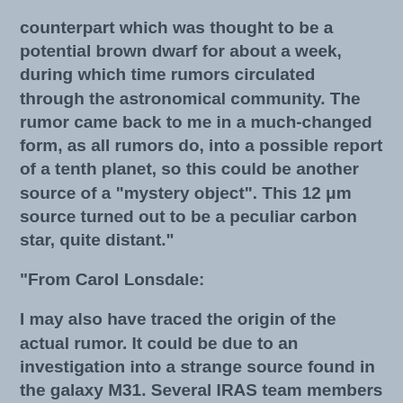counterpart which was thought to be a potential brown dwarf for about a week, during which time rumors circulated through the astronomical community. The rumor came back to me in a much-changed form, as all rumors do, into a possible report of a tenth planet, so this could be another source of a "mystery object". This 12 μm source turned out to be a peculiar carbon star, quite distant."
"From Carol Lonsdale:
I may also have traced the origin of the actual rumor. It could be due to an investigation into a strange source found in the galaxy M31. Several IRAS team members identified this bright and extremely cold source close to the nucleus of M31, and studied it closely because it had such peculiar characteristics for actually being in the galaxy. At one point it was called ``the mystery source''. For a time it